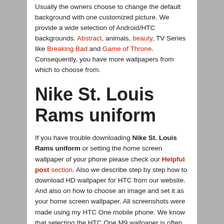Usually the owners choose to change the default background with one customized picture. We provide a wide selection of Android/HTC backgrounds. Abstract, animals, beauty, TV Series like Breaking Bad and Game of Throne. Consequently, you have more wallpapers from which to choose from.
Nike St. Louis Rams uniform
If you have trouble downloading Nike St. Louis Rams uniform or setting the home screen wallpaper of your phone please check our Helpful post section. Also we describe step by step how to download HD wallpaper for HTC from our website. And also on how to choose an image and set it as your home screen wallpaper. All screenshots were made using my HTC One mobile phone. We know that selecting the HTC One M9 wallpaper is often one of the most personal choices we make for our smartphone.